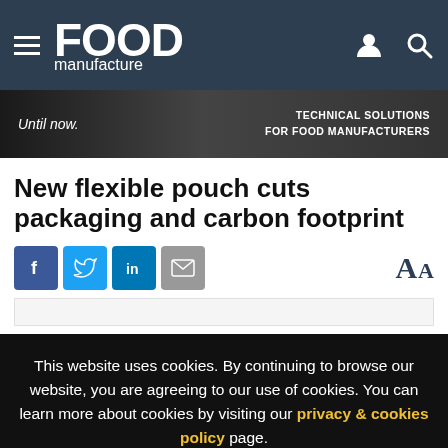Food Manufacture - navigation bar with logo, hamburger menu, user icon, search icon
[Figure (screenshot): Banner advertisement: 'Until now.' text on left, 'TECHNICAL SOLUTIONS FOR FOOD MANUFACTURERS' on right, dark background with hands image]
New flexible pouch cuts packaging and carbon footprint
[Figure (infographic): Social share buttons: Facebook, Twitter, LinkedIn, Email, and font size AA toggle on right]
This website uses cookies. By continuing to browse our website, you are agreeing to our use of cookies. You can learn more about cookies by visiting our privacy & cookies policy page.